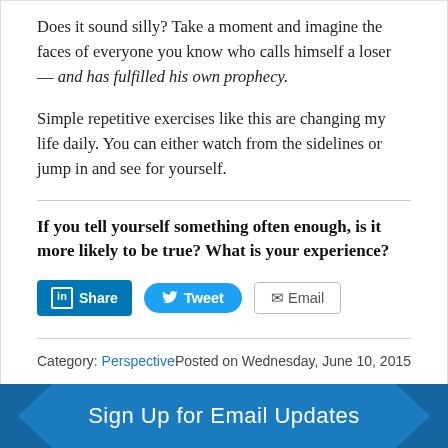Does it sound silly? Take a moment and imagine the faces of everyone you know who calls himself a loser — and has fulfilled his own prophecy.
Simple repetitive exercises like this are changing my life daily. You can either watch from the sidelines or jump in and see for yourself.
If you tell yourself something often enough, is it more likely to be true? What is your experience?
Category: Perspective    Posted on Wednesday, June 10, 2015
Sign Up for Email Updates